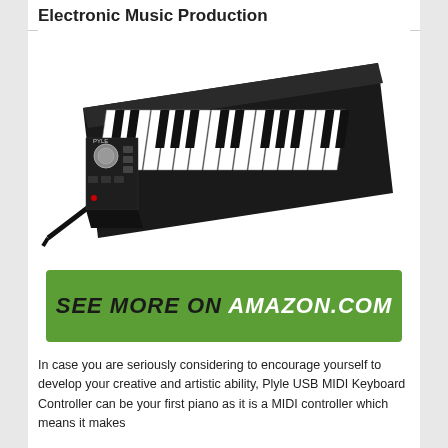Electronic Music Production
[Figure (photo): A Pyle USB MIDI keyboard controller, small black device with piano keys and control knobs, shown at an angle on a white background with a USB cable attached.]
[Figure (infographic): Green banner button with text 'SEE MORE ON AMAZON.COM' in bold italic uppercase letters, white and black text on green background.]
In case you are seriously considering to encourage yourself to develop your creative and artistic ability, Plyle USB MIDI Keyboard Controller can be your first piano as it is a MIDI controller which means it makes